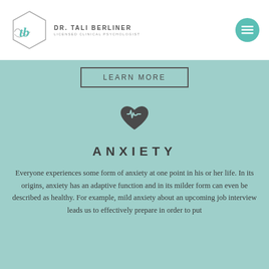[Figure (logo): Dr. Tali Berliner Licensed Clinical Psychologist logo with hexagon and stylized 'tb' monogram]
[Figure (other): Teal circular hamburger menu button in top right]
LEARN MORE
[Figure (illustration): Heart with EKG/pulse line icon in dark gray]
ANXIETY
Everyone experiences some form of anxiety at one point in his or her life. In its origins, anxiety has an adaptive function and in its milder form can even be described as healthy. For example, mild anxiety about an upcoming job interview leads us to effectively prepare in order to put